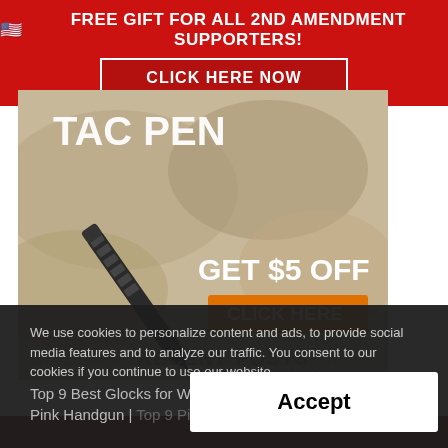🇺🇸 FREE GIFT FOR ALL 2ND AMENDMENT SUPPORTERS!
CLICK HERE NOW
[Figure (photo): Tactical pen product shot on rocks with text 'TAC PEN GET $5 OFF CLICK HERE GET YOUR UGERMAN FIGHTER TAC PEN BEFORE SUPPLIES RUN OUT!']
We use cookies to personalize content and ads, to provide social media features and to analyze our traffic. You consent to our cookies if you continue to use our website.
RECENT POSTS
Top 9 Best Glocks for Women
Pink Handgun | Top 9 Pink H... for
Accept